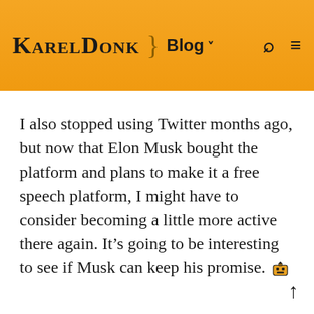KARELDONK } Blog ˅ 🔍 ≡
I also stopped using Twitter months ago, but now that Elon Musk bought the platform and plans to make it a free speech platform, I might have to consider becoming a little more active there again. It's going to be interesting to see if Musk can keep his promise. 🤖